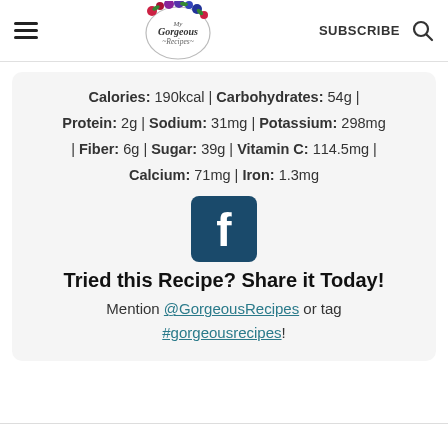My Gorgeous Recipes — SUBSCRIBE
Calories: 190kcal | Carbohydrates: 54g | Protein: 2g | Sodium: 31mg | Potassium: 298mg | Fiber: 6g | Sugar: 39g | Vitamin C: 114.5mg | Calcium: 71mg | Iron: 1.3mg
[Figure (logo): Facebook logo icon in dark teal/navy square with white 'f' letter]
Tried this Recipe? Share it Today!
Mention @GorgeousRecipes or tag #gorgeousrecipes!